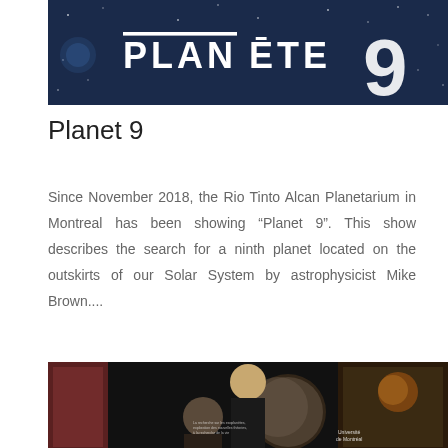[Figure (photo): Dark blue space-themed banner with white text reading 'PLANÈTE 9' in stylized font]
Planet 9
Since November 2018, the Rio Tinto Alcan Planetarium in Montreal has been showing “Planet 9”. This show describes the search for a ninth planet located on the outskirts of our Solar System by astrophysicist Mike Brown....
[Figure (photo): Photo of a woman with glasses at what appears to be a science fair booth, speaking to a young person. Behind her is a dark banner with planet imagery and Université de Montréal branding.]